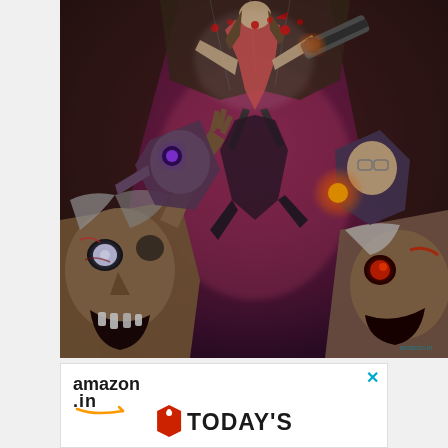[Figure (illustration): Fantasy/horror digital artwork showing a warrior fighting multiple zombies. A central figure with a chainsaw weapon is airborne, attacking several undead creatures. Zombies with glowing eyes, open mouths, and decayed features surround the scene. The background features dark purples, reds and oranges. Bottom left shows a zombie with white glowing eyes and a screaming expression. Right side shows another zombie with red glowing eyes. Upper right shows a character firing a glowing weapon.]
[Figure (screenshot): Amazon.in advertisement banner. Shows 'amazon.in' logo with orange swoosh arrow, and a red price-tag icon followed by 'TODAY'S' text in large bold letters. An X close button appears in the upper right corner in teal/blue color.]